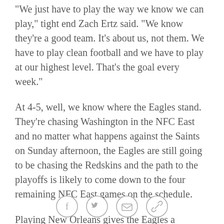"We just have to play the way we know we can play," tight end Zach Ertz said. "We know they're a good team. It's about us, not them. We have to play clean football and we have to play at our highest level. That's the goal every week."
At 4-5, well, we know where the Eagles stand. They're chasing Washington in the NFC East and no matter what happens against the Saints on Sunday afternoon, the Eagles are still going to be chasing the Redskins and the path to the playoffs is likely to come down to the four remaining NFC East games on the schedule.
Playing New Orleans gives the Eagles a measuring stick to see how they stack up against one of the best teams in the NFL. New Orleans has the most prolific offense in the high-scoring NFL and is led by a
[Figure (other): Social sharing icons: Facebook, Twitter, email, and link/copy icons in a row at the bottom of the page]